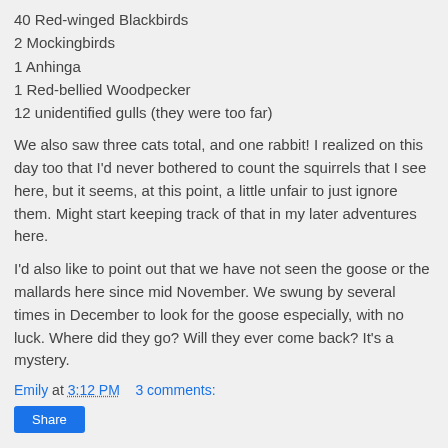40 Red-winged Blackbirds
2 Mockingbirds
1 Anhinga
1 Red-bellied Woodpecker
12 unidentified gulls (they were too far)
We also saw three cats total, and one rabbit! I realized on this day too that I'd never bothered to count the squirrels that I see here, but it seems, at this point, a little unfair to just ignore them. Might start keeping track of that in my later adventures here.
I'd also like to point out that we have not seen the goose or the mallards here since mid November. We swung by several times in December to look for the goose especially, with no luck. Where did they go? Will they ever come back? It's a mystery.
Emily at 3:12 PM    3 comments: